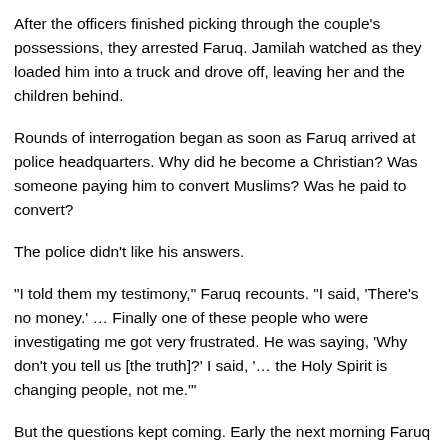After the officers finished picking through the couple's possessions, they arrested Faruq. Jamilah watched as they loaded him into a truck and drove off, leaving her and the children behind.
Rounds of interrogation began as soon as Faruq arrived at police headquarters. Why did he become a Christian? Was someone paying him to convert Muslims? Was he paid to convert?
The police didn't like his answers.
“I told them my testimony,” Faruq recounts. “I said, ‘There’s no money.’ … Finally one of these people who were investigating me got very frustrated. He was saying, ‘Why don’t you tell us [the truth]?’ I said, ‘… the Holy Spirit is changing people, not me.’”
But the questions kept coming. Early the next morning Faruq was thrown into a small holding cell, exhausted, afraid and totally alone. Seeds of doubt planted by the police about his own decision to follow Jesus were taking root. They said he was too young, stupid and naive to understand that he’d been deceived by the Christians.